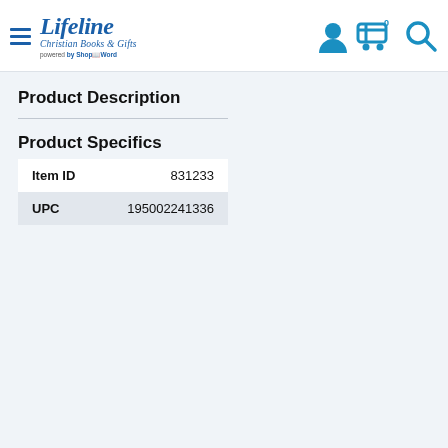Lifeline Christian Books & Gifts — powered by ShopByWord
Product Description
Product Specifics
|  |  |
| --- | --- |
| Item ID | 831233 |
| UPC | 195002241336 |